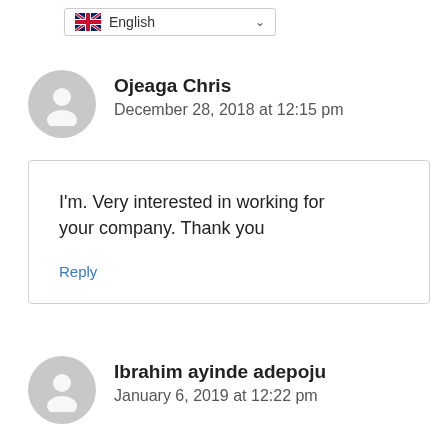[Figure (screenshot): Language selector dropdown showing UK flag and 'English' with a chevron arrow]
Ojeaga Chris
December 28, 2018 at 12:15 pm
I'm. Very interested in working for your company. Thank you
Reply
Ibrahim ayinde adepoju
January 6, 2019 at 12:22 pm